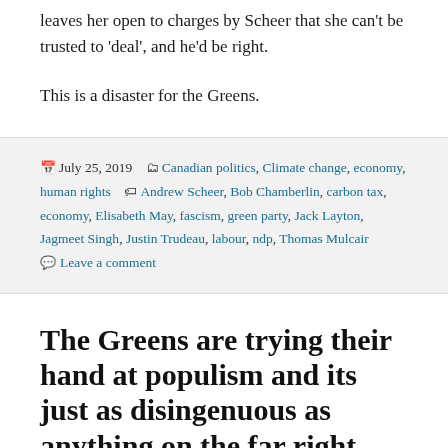leaves her open to charges by Scheer that she can't be trusted to 'deal', and he'd be right.
This is a disaster for the Greens.
July 25, 2019  Canadian politics, Climate change, economy, human rights  Andrew Scheer, Bob Chamberlin, carbon tax, economy, Elisabeth May, fascism, green party, Jack Layton, Jagmeet Singh, Justin Trudeau, labour, ndp, Thomas Mulcair  Leave a comment
The Greens are trying their hand at populism and its just as disingenuous as anything on the far right